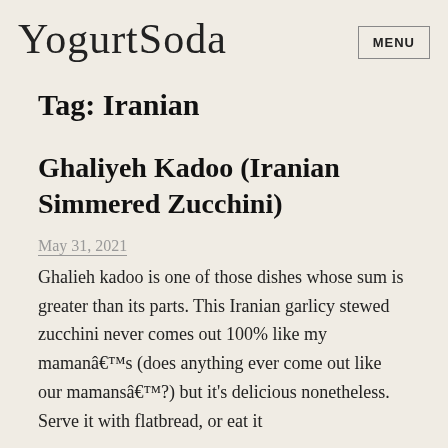YogurtSoda
MENU
Tag: Iranian
Ghaliyeh Kadoo (Iranian Simmered Zucchini)
May 31, 2021
Ghalieh kadoo is one of those dishes whose sum is greater than its parts. This Iranian garlicy stewed zucchini never comes out 100% like my mamanâ€™s (does anything ever come out like our mamansâ€™?) but it's delicious nonetheless. Serve it with flatbread, or eat it